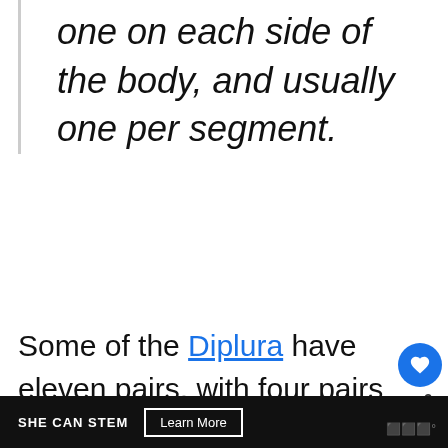one on each side of the body, and usually one per segment.
Some of the Diplura have eleven pairs, with four pairs on the thorax. But in most of ancient forms of insects, such
SHE CAN STEM   Learn More